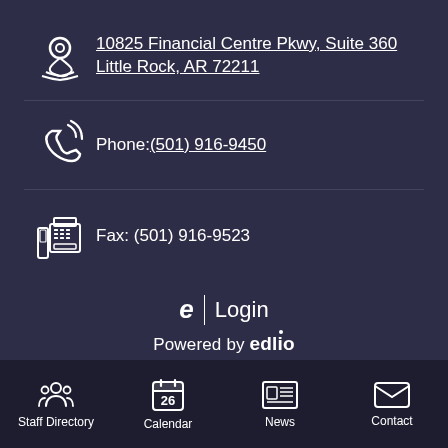10825 Financial Centre Pkwy, Suite 360
Little Rock, AR 72211
Phone:(501) 916-9450
Fax: (501) 916-9523
[Figure (logo): Edlio e icon with Login text]
Powered by edlio
Staff Directory | Calendar | News | Contact